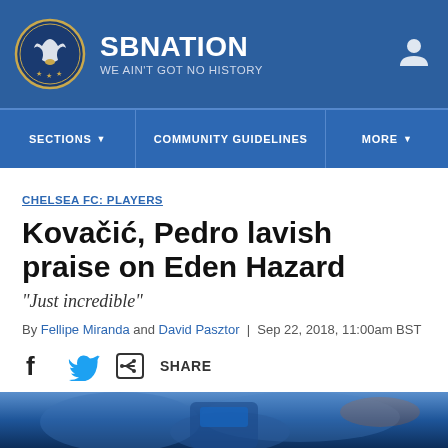SBNATION — WE AIN'T GOT NO HISTORY
SECTIONS | COMMUNITY GUIDELINES | MORE
CHELSEA FC: PLAYERS
Kovačić, Pedro lavish praise on Eden Hazard
“Just incredible”
By Fellipe Miranda and David Pasztor | Sep 22, 2018, 11:00am BST
[Figure (other): Social share bar with Facebook icon, Twitter bird icon, and share icon with SHARE label]
[Figure (photo): Bottom photo strip showing blurred crowd/player image in blue Chelsea colors]